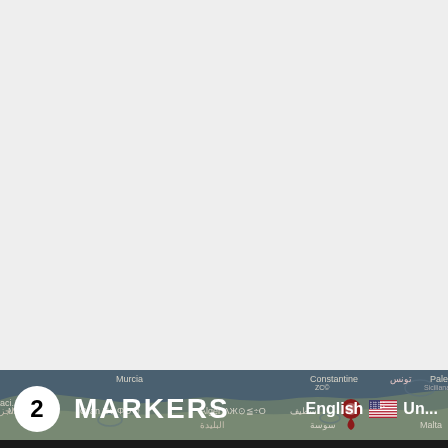[Figure (screenshot): Light gray empty area occupying the upper ~82% of the page, representing a blank map or UI background area.]
[Figure (map): Dark-themed map strip at the bottom showing Mediterranean region with city labels including Murcia, Constantine, Oran, Alger, Malta, Palermo, and Arabic text labels. A red map pin marker is visible near center. Overlay shows: badge with number 2, text MARKERS, language selector showing 'English' with US flag and 'Un...' text.]